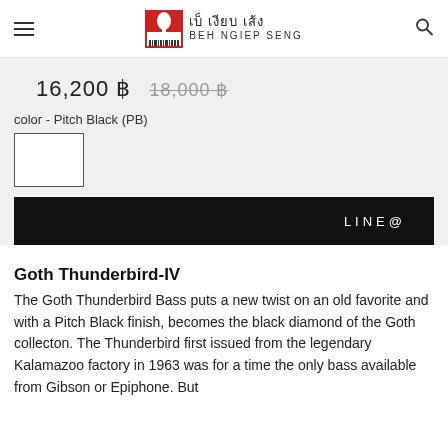เบ็ เงียบ เส้ง BEH NGIEP SENG
16,200 ฿   18,000 ฿
color - Pitch Black (PB)
[Figure (other): White color swatch box with border representing Pitch Black (PB) guitar color option]
LINE@
Goth Thunderbird-IV
The Goth Thunderbird Bass puts a new twist on an old favorite and with a Pitch Black finish, becomes the black diamond of the Goth collecton. The Thunderbird first issued from the legendary Kalamazoo factory in 1963 was for a time the only bass available from Gibson or Epiphone. But